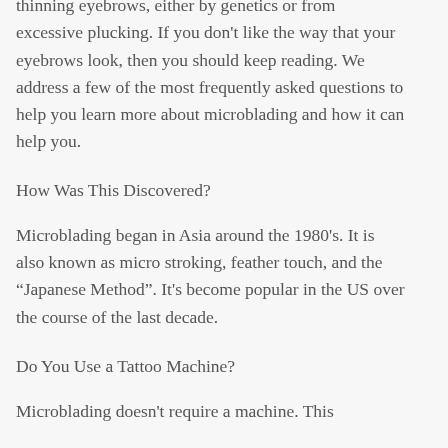popular strategy to help improve the look of your eyebrows. This procedure is used for people that have thinning eyebrows, either by genetics or from excessive plucking. If you don't like the way that your eyebrows look, then you should keep reading. We address a few of the most frequently asked questions to help you learn more about microblading and how it can help you.
How Was This Discovered?
Microblading began in Asia around the 1980's. It is also known as micro stroking, feather touch, and the “Japanese Method”. It's become popular in the US over the course of the last decade.
Do You Use a Tattoo Machine?
Microblading doesn't require a machine. This